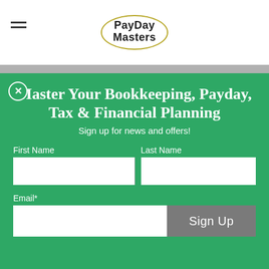PayDay Masters
Master Your Bookkeeping, Payday, Tax & Financial Planning
Sign up for news and offers!
First Name
Last Name
Email*